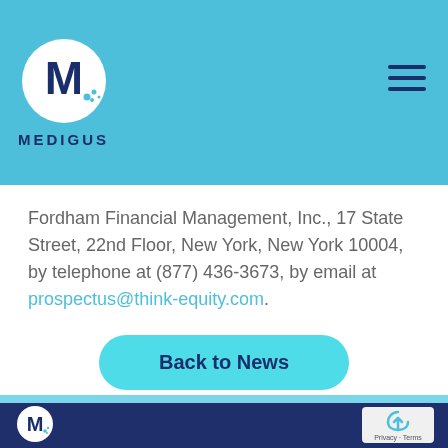[Figure (logo): Medigus logo: white circle with dark blue M letter and pixel dots, with MEDIGUS text below, on teal/cyan header bar]
Fordham Financial Management, Inc., 17 State Street, 22nd Floor, New York, New York 10004, by telephone at (877) 436-3673, by email at prospectus@think-equity.com.
Back to News
Medigus footer logo